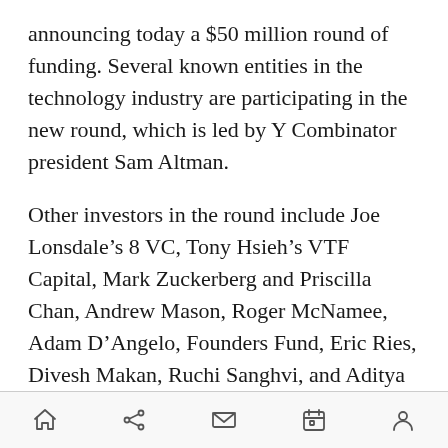announcing today a $50 million round of funding. Several known entities in the technology industry are participating in the new round, which is led by Y Combinator president Sam Altman.
Other investors in the round include Joe Lonsdale's 8 VC, Tony Hsieh's VTF Capital, Mark Zuckerberg and Priscilla Chan, Andrew Mason, Roger McNamee, Adam D'Angelo, Founders Fund, Eric Ries, Divesh Makan, Ruchi Sanghvi, and Aditya Agrawal. Asana founders Dustin Moskovitz and Justin Rosenstein also participated.
“This capital will help fuel the next two years of the company to help us make work tracking more
[navigation icons: home, share, mail, calendar, profile]